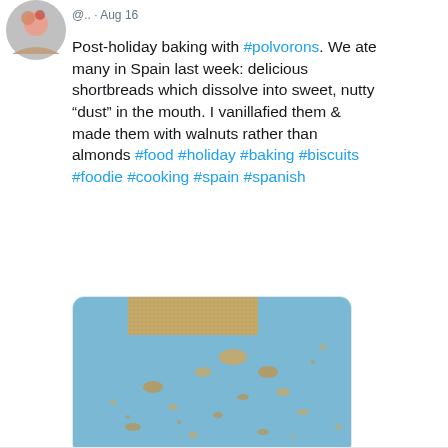[Figure (screenshot): Twitter/social media post screenshot showing a tweet with hashtags about polvorons (Spanish shortbread biscuits), with a photo of a crumbled polvoron on a blue background, and engagement counts (1 comment, 15 likes)]
Post-holiday baking with #polvorons. We ate many in Spain last week: delicious shortbreads which dissolve into sweet, nutty "dust" in the mouth. I vanillafied them & made them with walnuts rather than almonds #food #holiday #baking #biscuits #foodie #cooking #spain #spanish